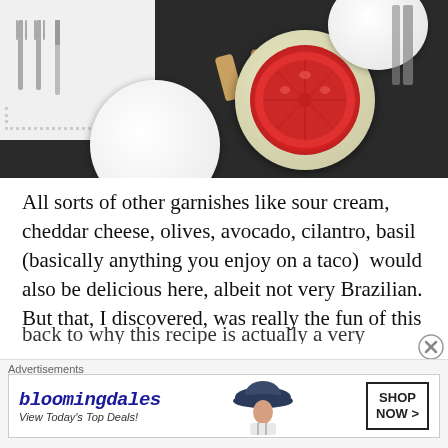[Figure (photo): Overhead view of a dark table surface with white plates, a bowl containing sliced tomatoes, two wine corks, silverware, and a white lace-edged napkin]
All sorts of other garnishes like sour cream, cheddar cheese, olives, avocado, cilantro, basil (basically anything you enjoy on a taco)  would also be delicious here, albeit not very Brazilian. But that, I discovered, was really the fun of this recipe. It is open to creativity, to interpretation, to personal touch. Which brings us
back to why this recipe is actually a very good choice f
Advertisements
[Figure (infographic): Bloomingdales advertisement banner: 'bloomingdales / View Today's Top Deals!' with a woman in a large hat and a 'SHOP NOW >' button]